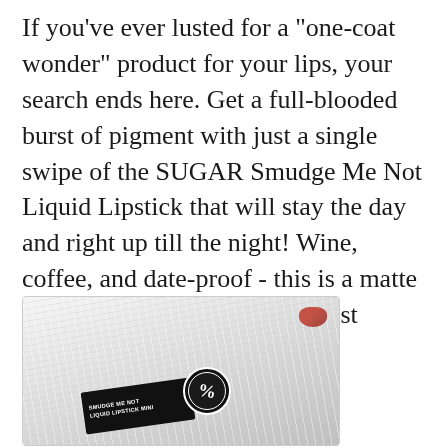If you've ever lusted for a "one-coat wonder" product for your lips, your search ends here. Get a full-blooded burst of pigment with just a single swipe of the SUGAR Smudge Me Not Liquid Lipstick that will stay the day and right up till the night! Wine, coffee, and date-proof - this is a matte lipstick that is guaranteed to last longer than your longest day.
[Figure (photo): Product photo of SUGAR Smudge Me Not Liquid Lipstick Mini box placed on white fluffy fur surface, with a circular black logo badge visible]